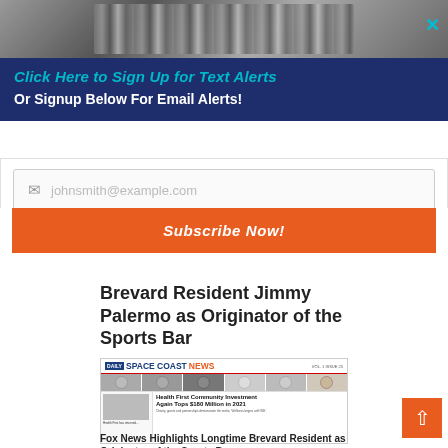[Figure (photo): Black and white photograph of people at what appears to be a bar or social gathering, partially visible at top of page]
Click Here to Sign Up for Text Alerts
Or Signup Below For Email Alerts!
johnsmith@example.com
Subscribe Now!
Brevard Resident Jimmy Palermo as Originator of the Sports Bar
[Figure (screenshot): Thumbnail of Daily Space Coast News newspaper front page showing 'Health First Community Investment Again Tops $180 Million in 2021' headline and Fox News highlight about Brevard Resident as Originator of the Sports Bar]
Fox News Highlights Longtime Brevard Resident as Originator of the Sports Bar